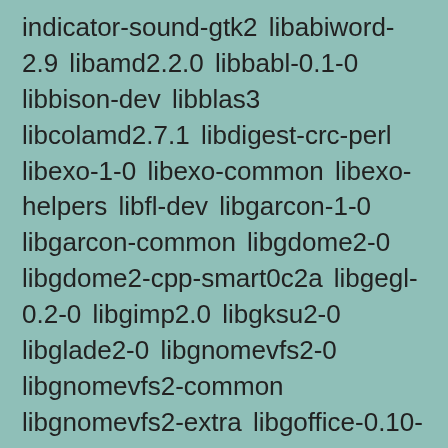indicator-sound-gtk2 libabiword-2.9 libamd2.2.0 libbabl-0.1-0 libbison-dev libblas3 libcolamd2.7.1 libdigest-crc-perl libexo-1-0 libexo-common libexo-helpers libfl-dev libgarcon-1-0 libgarcon-common libgdome2-0 libgdome2-cpp-smart0c2a libgegl-0.2-0 libgimp2.0 libgksu2-0 libglade2-0 libgnomevfs2-0 libgnomevfs2-common libgnomevfs2-extra libgoffice-0.10-10 libgoffice-0.10-10-common libgsf-1-114 libgsf-1-common libgstreamer-perl libgtk2-notify-perl libgtk2-trayicon-perl libgtkmathview0c2a libgtksourceview2.0-0 libgtksourceview2.0-